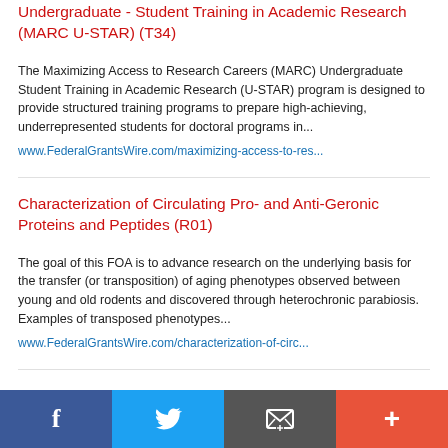Undergraduate - Student Training in Academic Research (MARC U-STAR) (T34)
The Maximizing Access to Research Careers (MARC) Undergraduate Student Training in Academic Research (U-STAR) program is designed to provide structured training programs to prepare high-achieving, underrepresented students for doctoral programs in...
www.FederalGrantsWire.com/maximizing-access-to-res...
Characterization of Circulating Pro- and Anti-Geronic Proteins and Peptides (R01)
The goal of this FOA is to advance research on the underlying basis for the transfer (or transposition) of aging phenotypes observed between young and old rodents and discovered through heterochronic parabiosis. Examples of transposed phenotypes...
www.FederalGrantsWire.com/characterization-of-circ...
Biomarkers Discovery In Parkinsonism (U01)
The purpose of this funding opportunity announcement (FOA) is to
f  Twitter  Email  +